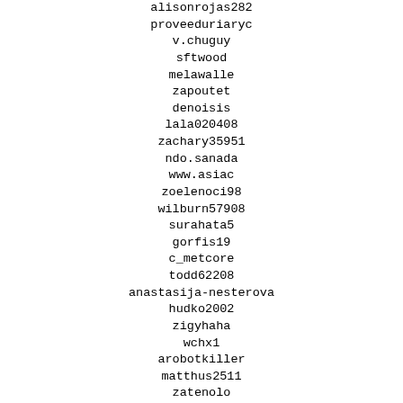alisonrojas282
proveeduriaryc
v.chuguy
sftwood
melawalle
zapoutet
denoisis
lala020408
zachary35951
ndo.sanada
www.asiac
zoelenoci98
wilburn57908
surahata5
gorfis19
c_metcore
todd62208
anastasija-nesterova
hudko2002
zigyhaha
wchx1
arobotkiller
matthus2511
zatenolo
debbieg731
vyacheslav.karmaev
yellowrose_44
wlsdn1519
ant-fleischer
brunalexandrantunes